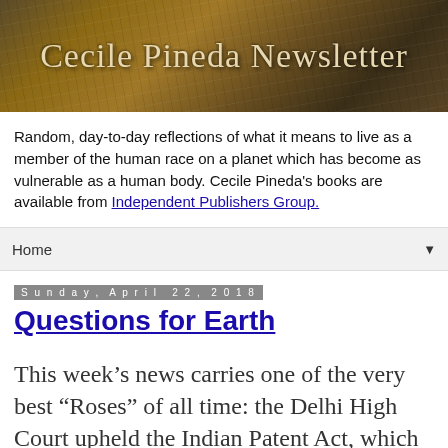[Figure (illustration): Banner image with earthy brown textured background and the title 'Cecile Pineda Newsletter' in large serif white/cream text]
Random, day-to-day reflections of what it means to live as a member of the human race on a planet which has become as vulnerable as a human body. Cecile Pineda's books are available from Independent Publishers Group.
Home ▼
Sunday, April 22, 2018
Questions for Earth
This week’s news carries one of the very best “Roses” of all time: the Delhi High Court upheld the Indian Patent Act, which states that both seeds